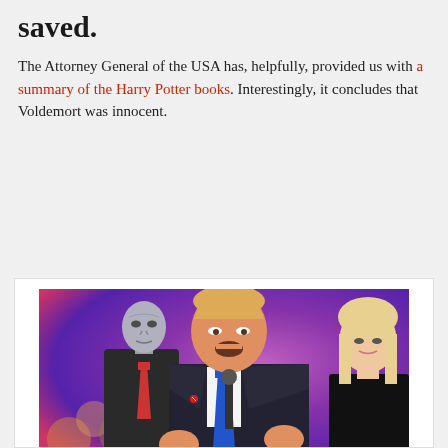saved.
The Attorney General of the USA has, helpfully, provided us with a summary of the Harry Potter books. Interestingly, it concludes that Voldemort was innocent.
[Figure (photo): Photomontage showing a figure resembling Voldemort (grey-skinned, noseless) in the background wearing a suit and red tie, with a man in a suit and blue tie speaking at a microphone in the foreground, and a blonde woman visible to the right, all against a purple/red lit crowd background.]
William Barr publishes summary of Harry Potter series claiming Voldemort was